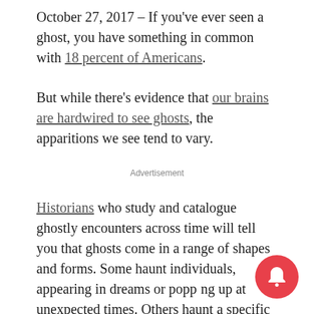October 27, 2017 – If you've ever seen a ghost, you have something in common with 18 percent of Americans.
But while there's evidence that our brains are hardwired to see ghosts, the apparitions we see tend to vary.
Advertisement
Historians who study and catalogue ghostly encounters across time will tell you that ghosts come in a range of shapes and forms. Some haunt individuals, appearing in dreams or popping up at unexpected times. Others haunt a specific